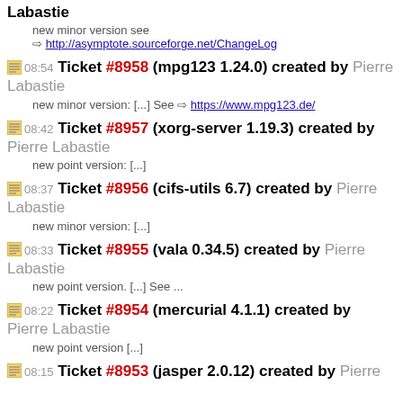Labastie
new minor version see ⇒ http://asymptote.sourceforge.net/ChangeLog
08:54 Ticket #8958 (mpg123 1.24.0) created by Pierre Labastie
new minor version: [...] See ⇒ https://www.mpg123.de/
08:42 Ticket #8957 (xorg-server 1.19.3) created by Pierre Labastie
new point version: [...]
08:37 Ticket #8956 (cifs-utils 6.7) created by Pierre Labastie
new minor version: [...]
08:33 Ticket #8955 (vala 0.34.5) created by Pierre Labastie
new point version. [...] See ...
08:22 Ticket #8954 (mercurial 4.1.1) created by Pierre Labastie
new point version [...]
08:15 Ticket #8953 (jasper 2.0.12) created by Pierre